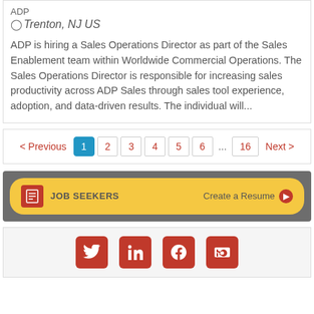ADP
Trenton, NJ US
ADP is hiring a Sales Operations Director as part of the Sales Enablement team within Worldwide Commercial Operations. The Sales Operations Director is responsible for increasing sales productivity across ADP Sales through sales tool experience, adoption, and data-driven results. The individual will...
< Previous  1  2  3  4  5  6  ...  16  Next >
JOB SEEKERS  Create a Resume ▶
[Figure (infographic): Social media icons: Twitter, LinkedIn, Facebook, RSS feed — all in red/orange on rounded square backgrounds]